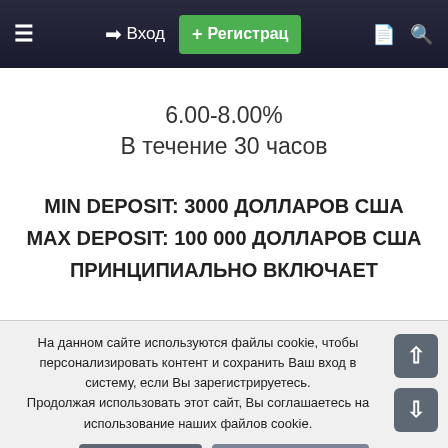≡  → Вход  + Регистрац  🗋  🔍
6.00-8.00%
В течение 30 часов
MIN DEPOSIT: 3000 долларов США
MAX DEPOSIT: 100 000 долларов США
ПРИНЦИПИАЛЬНО ВКЛЮЧАЕТ
На данном сайте используются файлы cookie, чтобы персонализировать контент и сохранить Ваш вход в систему, если Вы зарегистрируетесь.
Продолжая использовать этот сайт, Вы соглашаетесь на использование наших файлов cookie.
✔ Принять    Узнать больше...